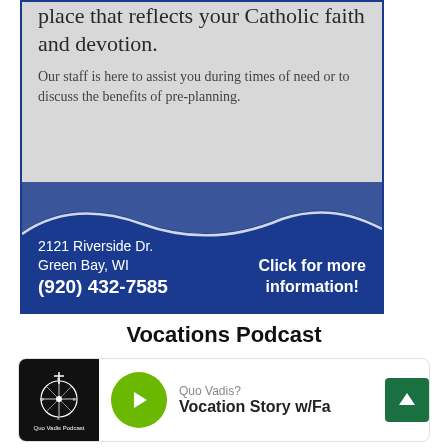[Figure (infographic): Advertisement for a Catholic funeral/memorial service. Blue background with wave design. Text reads: 'place that reflects your Catholic faith and devotion.' and 'Our staff is here to assist you during times of need or to discuss the benefits of pre-planning.' Address: 2121 Riverside Dr. Green Bay, WI (920) 432-7585. Click for more information!]
Vocations Podcast
[Figure (screenshot): Podcast card showing 'Quo Vadis? Vocation Story w/Fa...' with podcast thumbnail (black background with compass/cross logo, labeled 'Quo Vadis Podcast'), green play button, and partially visible scroll-to-top button (dark green).]